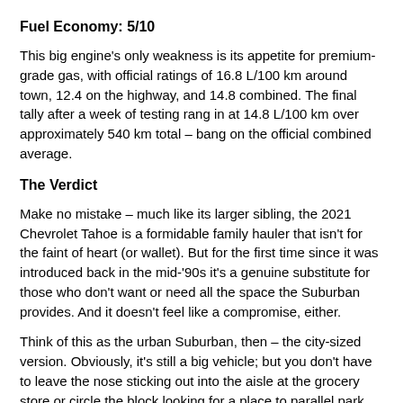Fuel Economy: 5/10
This big engine's only weakness is its appetite for premium-grade gas, with official ratings of 16.8 L/100 km around town, 12.4 on the highway, and 14.8 combined. The final tally after a week of testing rang in at 14.8 L/100 km over approximately 540 km total – bang on the official combined average.
The Verdict
Make no mistake – much like its larger sibling, the 2021 Chevrolet Tahoe is a formidable family hauler that isn't for the faint of heart (or wallet). But for the first time since it was introduced back in the mid-'90s it's a genuine substitute for those who don't want or need all the space the Suburban provides. And it doesn't feel like a compromise, either.
Think of this as the urban Suburban, then – the city-sized version. Obviously, it's still a big vehicle; but you don't have to leave the nose sticking out into the aisle at the grocery store or circle the block looking for a place to parallel park. It'll even fit in your average parking spot, or maybe even a single-car garage if you so choose.